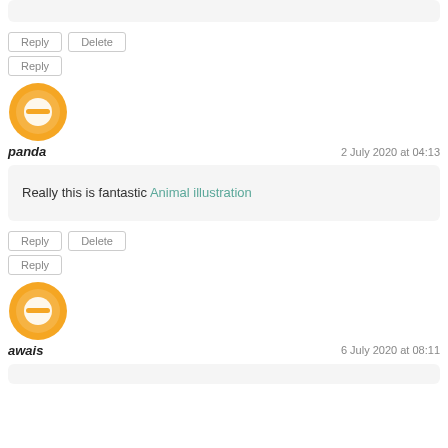[Figure (other): Partial comment box cut off at top of page]
Reply | Delete
Reply
[Figure (logo): Blogger orange avatar icon for user panda]
panda   2 July 2020 at 04:13
Really this is fantastic Animal illustration
Reply | Delete
Reply
[Figure (logo): Blogger orange avatar icon for user awais]
awais   6 July 2020 at 08:11
[Figure (other): Partial comment box cut off at bottom of page]